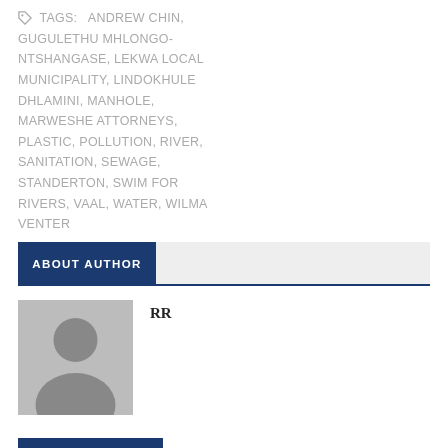TAGS: ANDREW CHIN, GUGULETHU MHLONGO-NTSHANGASE, LEKWA LOCAL MUNICIPALITY, LINDOKHULE DHLAMINI, MANHOLE, MARWESHE ATTORNEYS, PLASTIC, POLLUTION, RIVER, SANITATION, SEWAGE, STANDERTON, SWIM FOR RIVERS, VAAL, WATER, WILMA VENTER
ABOUT AUTHOR
RR